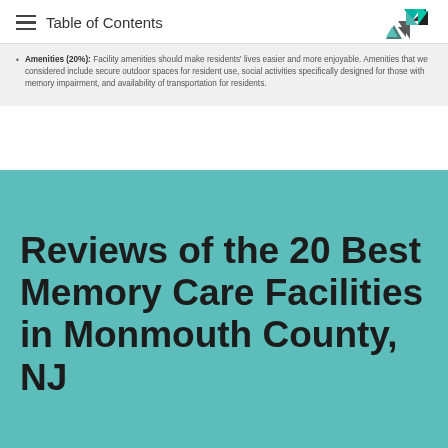Table of Contents
Amenities (20%): Facility amenities should make residents' lives easier and more enjoyable. Amenities that we considered include secure outdoor spaces for resident use, social activities specifically designed for those with memory impairment, and availability of transportation for residents.
Reviews of the 20 Best Memory Care Facilities in Monmouth County, NJ